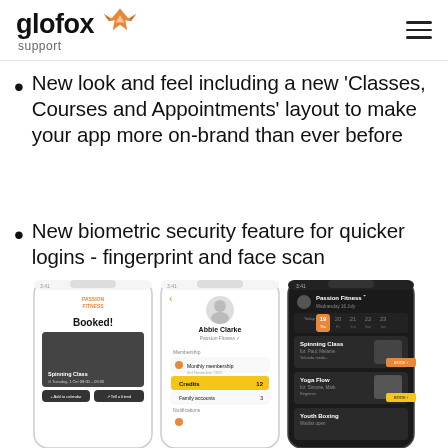glofox support
New look and feel including a new ‘Classes, Courses and Appointments’ layout to make your app more on-brand than ever before
New biometric security feature for quicker logins - fingerprint and face scan
[Figure (screenshot): Three mobile phone screenshots showing the Glofox fitness app: first screen shows a 'Booked!' confirmation for a Spinning Class; second screen shows a user profile (Abbie Clarke, Passion Fitness) with membership and credits info; third screen shows a dark-themed class schedule for Passion Fitness with Spinning Class, Yoga Flow, and Youth Boxing listed.]